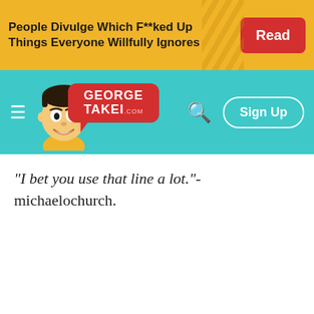[Figure (screenshot): Ad banner with yellow background showing article headline and red Read button]
People Divulge Which F**ked Up Things Everyone Willfully Ignores
[Figure (screenshot): George Takei website navigation bar with teal background, mascot illustration, logo speech bubble, search icon, and Sign Up button]
"I bet you use that line a lot."- michaelochurch.